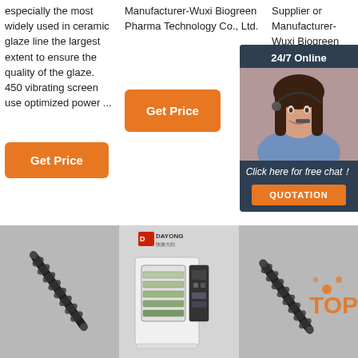especially the most widely used in ceramic glaze line the largest extent to ensure the quality of the glaze. 450 vibrating screen use optimized power ...
Manufacturer-Wuxi Biogreen Pharma Technology Co., Ltd.
Supplier or Manufacturer-Wuxi Biogreen Pharma Technology Co., Ltd.
Get Price
Get Price
Get Price
[Figure (photo): Chat widget with woman wearing headset, '24/7 Online' header, 'Click here for free chat!' and QUOTATION button]
[Figure (photo): Close-up photo of a vibrating screen spring/component on grey background]
[Figure (photo): DAYONG brand vibrating screen machine, white, with control panel]
[Figure (photo): Close-up photo of vibrating screen spring component with TOP watermark in orange]